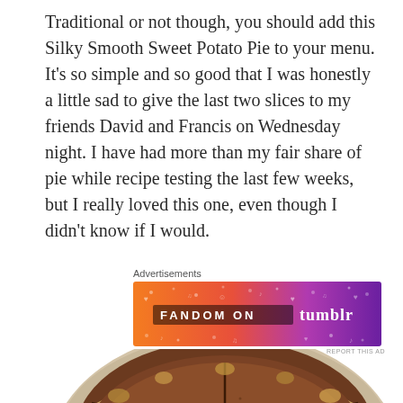Traditional or not though, you should add this Silky Smooth Sweet Potato Pie to your menu. It's so simple and so good that I was honestly a little sad to give the last two slices to my friends David and Francis on Wednesday night. I have had more than my fair share of pie while recipe testing the last few weeks, but I really loved this one, even though I didn't know if I would.
[Figure (other): Fandom on Tumblr advertisement banner with orange-to-purple gradient background and music/fandom icons]
[Figure (photo): Close-up photo of a sliced sweet potato pie in a glass pie dish, showing golden-brown crust and smooth dark filling cut into wedges]